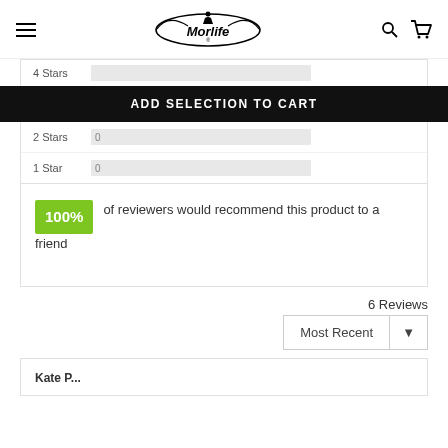Morlife — navigation header with logo, search, cart
ADD SELECTION TO CART
4 Stars
2 Stars   0
1 Star   0
100% of reviewers would recommend this product to a friend
6 Reviews
Most Recent